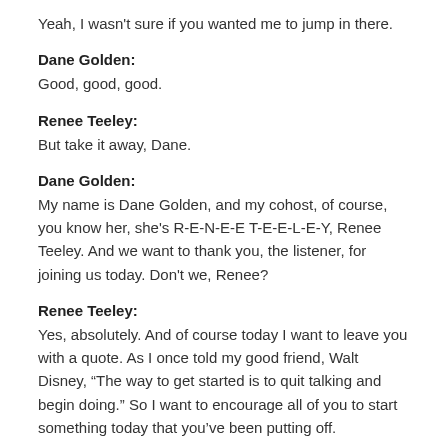Yeah, I wasn't sure if you wanted me to jump in there.
Dane Golden:
Good, good, good.
Renee Teeley:
But take it away, Dane.
Dane Golden:
My name is Dane Golden, and my cohost, of course, you know her, she's R-E-N-E-E T-E-E-L-E-Y, Renee Teeley. And we want to thank you, the listener, for joining us today. Don't we, Renee?
Renee Teeley:
Yes, absolutely. And of course today I want to leave you with a quote. As I once told my good friend, Walt Disney, “The way to get started is to quit talking and begin doing.” So I want to encourage all of you to start something today that you’ve been putting off.